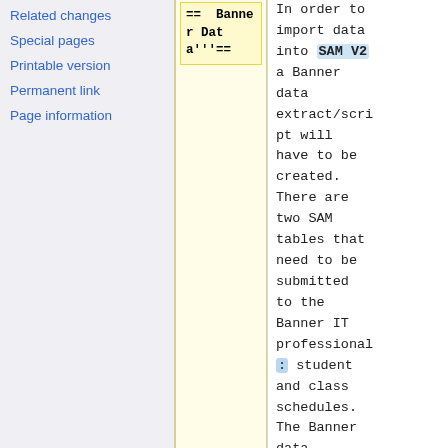Related changes
Special pages
Printable version
Permanent link
Page information
== Banner Data'''==
In order to import data into SAM V2 a Banner data extract/script will have to be created. There are two SAM tables that need to be submitted to the Banner IT professional: student and class schedules. The Banner data